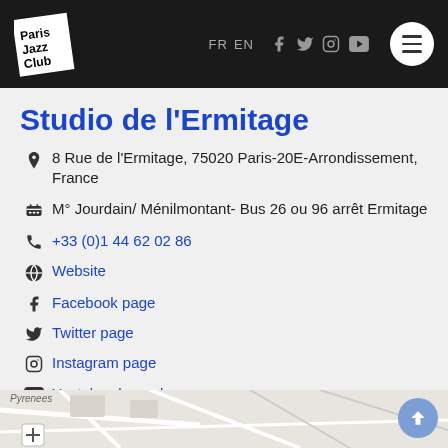Paris Jazz Club — FR EN [social icons] [menu]
Studio de l'Ermitage
8 Rue de l'Ermitage, 75020 Paris-20E-Arrondissement, France
M° Jourdain/ Ménilmontant- Bus 26 ou 96 arrêt Ermitage
+33 (0)1 44 62 02 86
Website
Facebook page
Twitter page
Instagram page
Youtube channel
[Figure (map): Street map snippet showing Pyrenees area with partial view of map]